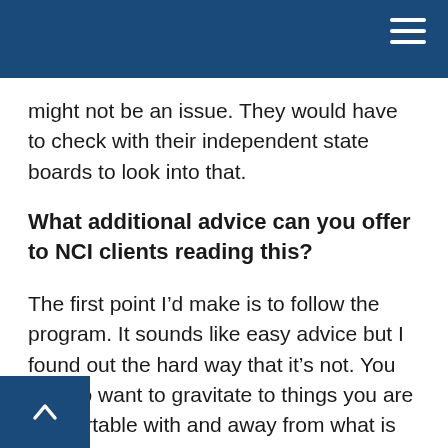might not be an issue. They would have to check with their independent state boards to look into that.
What additional advice can you offer to NCI clients reading this?
The first point I’d make is to follow the program. It sounds like easy advice but I found out the hard way that it’s not. You tend to want to gravitate to things you are comfortable with and away from what is uncomfortable to you. You have to do the uncomfortable until it becomes comfortable. If you want to grow, you have to be marketing. This is the thing that